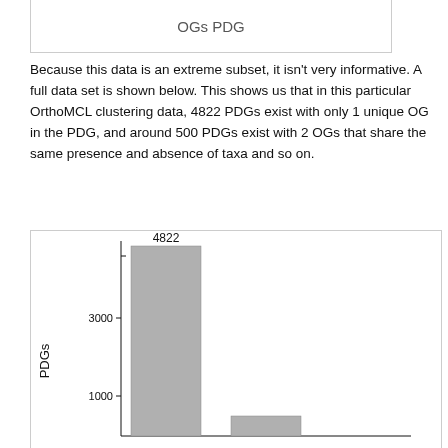[Figure (other): Top portion of a previous figure showing partial label 'OGs PDG']
Because this data is an extreme subset, it isn't very informative. A full data set is shown below. This shows us that in this particular OrthoMCL clustering data, 4822 PDGs exist with only 1 unique OG in the PDG, and around 500 PDGs exist with 2 OGs that share the same presence and absence of taxa and so on.
[Figure (bar-chart): ]